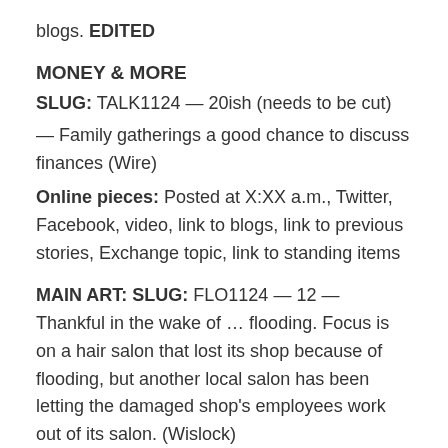blogs. EDITED
MONEY & MORE
SLUG: TALK1124 — 20ish (needs to be cut)
— Family gatherings a good chance to discuss finances (Wire)
Online pieces: Posted at X:XX a.m., Twitter, Facebook, video, link to blogs, link to previous stories, Exchange topic, link to standing items
MAIN ART: SLUG: FLO1124 — 12 — Thankful in the wake of … flooding. Focus is on a hair salon that lost its shop because of flooding, but another local salon has been letting the damaged shop's employees work out of its salon. (Wislock)
Art: New, already shot
Breakouts: how many